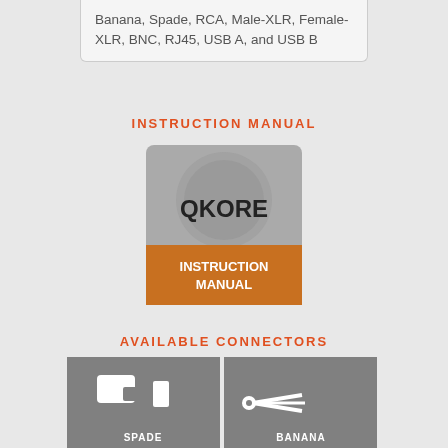Banana, Spade, RCA, Male-XLR, Female-XLR, BNC, RJ45, USB A, and USB B
INSTRUCTION MANUAL
[Figure (illustration): QKORE Instruction Manual cover image with grey background and orange/brown banner at bottom]
AVAILABLE CONNECTORS
[Figure (infographic): Grid of connector type icons: SPADE, BANANA, RCA, XLR, BNC, RJ45 shown as white icons on grey square backgrounds]